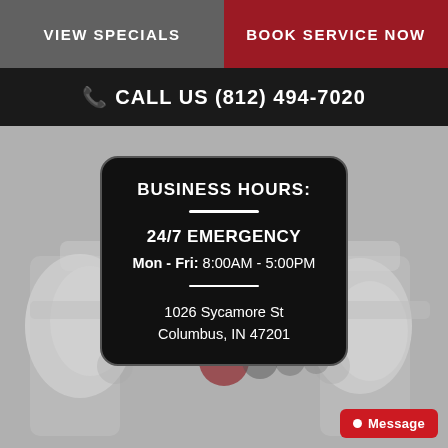VIEW SPECIALS | BOOK SERVICE NOW
CALL US (812) 494-7020
[Figure (photo): Background photo of plumbing pipes, greyscale, low opacity]
BUSINESS HOURS:
24/7 EMERGENCY
Mon - Fri: 8:00AM - 5:00PM
1026 Sycamore St Columbus, IN 47201
Message